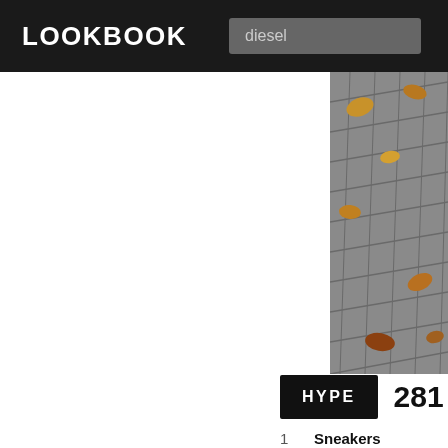LOOKBOOK
diesel
[Figure (photo): Aerial view of grey cobblestone/paved sidewalk with fallen autumn leaves]
HYPE 281 Sav
1 Sneakers — Converse in Converse Sneakers
2 Pants — The North Face in Pants
3 Sweater — Diesel in Diesel Sweaters